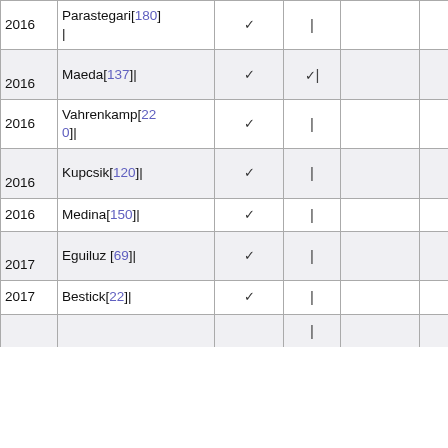| Year | Author | Col3 | Col4 | Col5 | Col6 |
| --- | --- | --- | --- | --- | --- |
| 2016 | Parastegari[180] | ✓ | | |  |  |
| 2016 | Maeda[137]| | ✓ | ✓| |  |  |
| 2016 | Vahrenkamp[220]| | ✓ | | |  | ✓ |
| 2016 | Kupcsik[120]| | ✓ | | |  |  |
| 2016 | Medina[150]| | ✓ | | |  |  |
| 2017 | Eguiluz [69]| | ✓ | | |  |  |
| 2017 | Bestick[22]| | ✓ | | |  | ✓ |
|  |  |  | | |  |  |